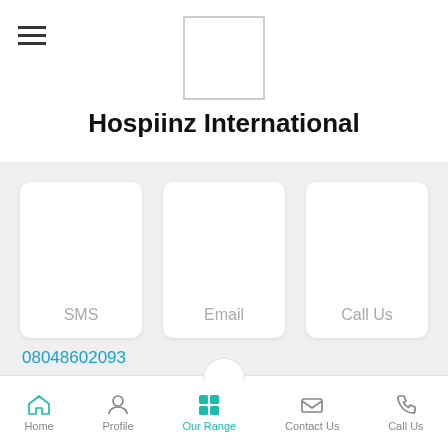[Figure (logo): Hamburger menu icon and company logo placeholder box]
Hospiinz International
SMS
Email
Call Us
08048602093
M. Mahendran (Managing Partner)
Hospiinz Internation
Home  Profile  Our Range  Contact Us  Call Us